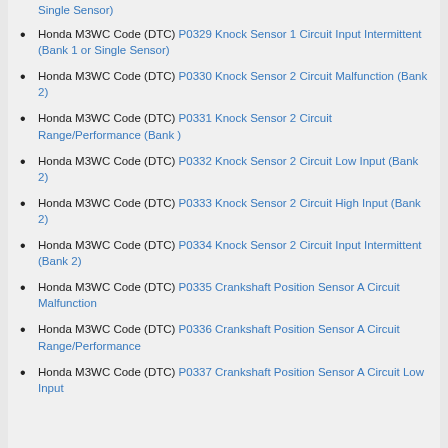Honda M3WC Code (DTC) P0329 Knock Sensor 1 Circuit Input Intermittent (Bank 1 or Single Sensor)
Honda M3WC Code (DTC) P0330 Knock Sensor 2 Circuit Malfunction (Bank 2)
Honda M3WC Code (DTC) P0331 Knock Sensor 2 Circuit Range/Performance (Bank )
Honda M3WC Code (DTC) P0332 Knock Sensor 2 Circuit Low Input (Bank 2)
Honda M3WC Code (DTC) P0333 Knock Sensor 2 Circuit High Input (Bank 2)
Honda M3WC Code (DTC) P0334 Knock Sensor 2 Circuit Input Intermittent (Bank 2)
Honda M3WC Code (DTC) P0335 Crankshaft Position Sensor A Circuit Malfunction
Honda M3WC Code (DTC) P0336 Crankshaft Position Sensor A Circuit Range/Performance
Honda M3WC Code (DTC) P0337 Crankshaft Position Sensor A Circuit Low Input